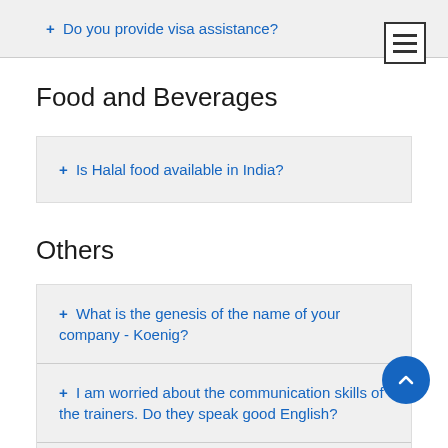+ Do you provide visa assistance?
Food and Beverages
+ Is Halal food available in India?
Others
+ What is the genesis of the name of your company - Koenig?
+ I am worried about the communication skills of the trainers. Do they speak good English?
+ What other benefits can I avail when visiting Koenig?